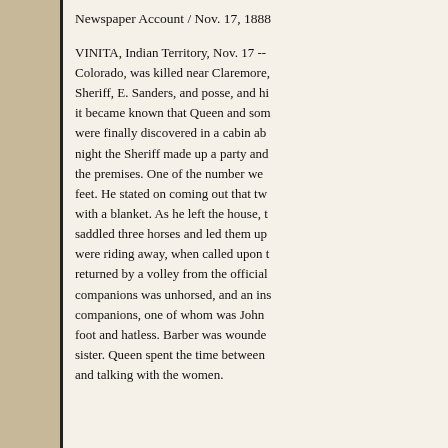Newspaper Account / Nov. 17, 1888
VINITA, Indian Territory, Nov. 17 -- Colorado, was killed near Claremore, Sheriff, E. Sanders, and posse, and hi it became known that Queen and som were finally discovered in a cabin ab night the Sheriff made up a party and the premises. One of the number we feet. He stated on coming out that tw with a blanket. As he left the house, saddled three horses and led them up were riding away, when called upon t returned by a volley from the official companions was unhorsed, and an ins companions, one of whom was John foot and hatless. Barber was wounded sister. Queen spent the time between and talking with the women.